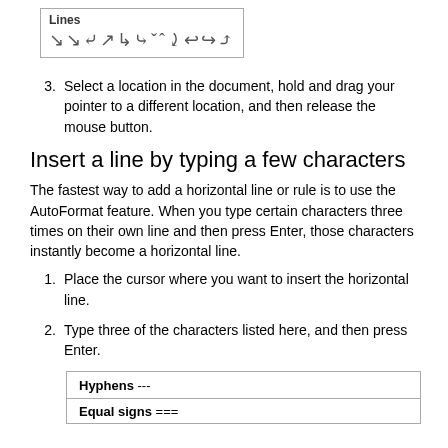[Figure (illustration): A box labeled 'Lines' containing various line/curve symbol shapes]
3. Select a location in the document, hold and drag your pointer to a different location, and then release the mouse button.
Insert a line by typing a few characters
The fastest way to add a horizontal line or rule is to use the AutoFormat feature. When you type certain characters three times on their own line and then press Enter, those characters instantly become a horizontal line.
1. Place the cursor where you want to insert the horizontal line.
2. Type three of the characters listed here, and then press Enter.
|  |
| --- |
| Hyphens --- |
| Equal signs === |